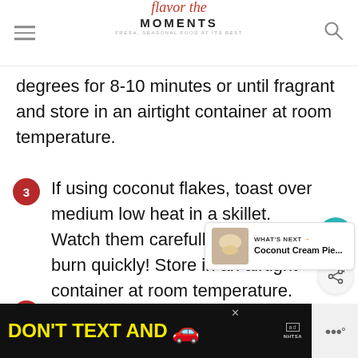flavor the MOMENTS — fresh, seasonal food at its best
degrees for 8-10 minutes or until fragrant and store in an airtight container at room temperature.
3  If using coconut flakes, toast over medium low heat in a skillet.  Watch them carefully as they burn quickly!  Store in an airtight container at room temperature.
4  You can find pre-toasted pecan pieces and coconut flakes at Trader Joe's if you save time!
[Figure (other): What's Next panel showing Coconut Cream Pie thumbnail and link]
[Figure (other): DON'T TEXT AND drive advertisement banner with car emoji, ad badge, and NHTSA logo]